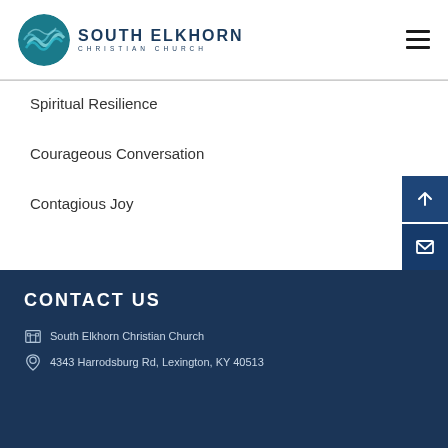[Figure (logo): South Elkhorn Christian Church logo with teal wave circle icon and text]
Spiritual Resilience
Courageous Conversation
Contagious Joy
CONTACT US
South Elkhorn Christian Church
4343 Harrodsburg Rd, Lexington, KY 40513